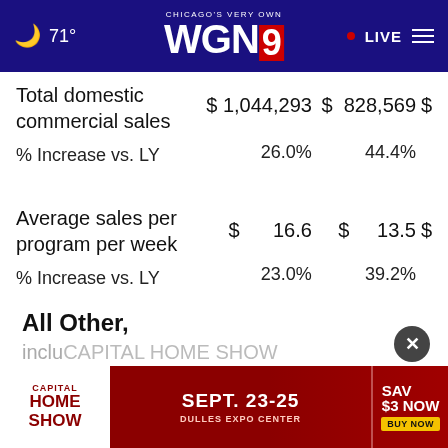71° CHICAGO'S VERY OWN WGN9 • LIVE
|  | Col1 | Col2 | Col3 |
| --- | --- | --- | --- |
| Total domestic commercial sales | $ 1,044,293 | $ 828,569 | $ |
| % Increase vs. LY | 26.0% | 44.4% |  |
| Average sales per program per week | $ 16.6 | $ 13.5 | $ |
| % Increase vs. LY | 23.0% | 39.2% |  |
All Other,
inclu
ALLD
[Figure (screenshot): Capital Home Show advertisement banner: CAPITAL HOME SHOW | SEPT. 23-25 | DULLES EXPO CENTER | SAV $3 NOW | BUY NOW]